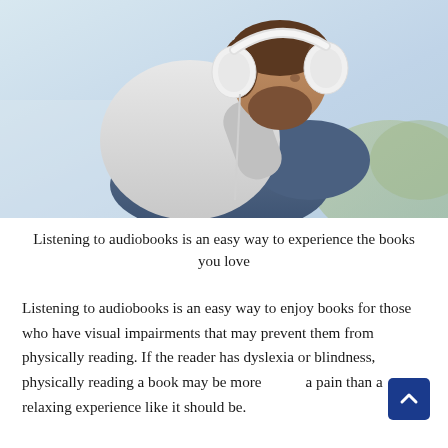[Figure (photo): A bearded man wearing white over-ear headphones, sitting cross-legged, looking to the side, dressed in a white t-shirt and jeans, with a light blurred background.]
Listening to audiobooks is an easy way to experience the books you love
Listening to audiobooks is an easy way to enjoy books for those who have visual impairments that may prevent them from physically reading. If the reader has dyslexia or blindness, physically reading a book may be more a pain than a relaxing experience like it should be.